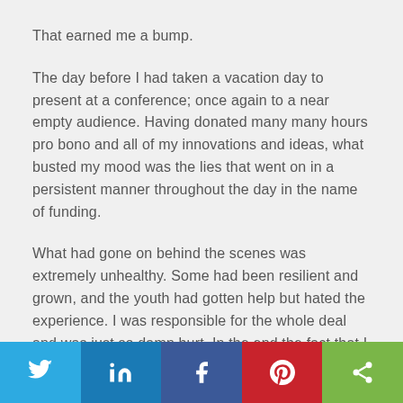That earned me a bump.
The day before I had taken a vacation day to present at a conference; once again to a near empty audience. Having donated many many hours pro bono and all of my innovations and ideas, what busted my mood was the lies that went on in a persistent manner throughout the day in the name of funding.
What had gone on behind the scenes was extremely unhealthy. Some had been resilient and grown, and the youth had gotten help but hated the experience. I was responsible for the whole deal and was just so damn hurt. In the end the fact that I had again been lied to and manipulated was burning strong in my brain.
Social share bar: Twitter, LinkedIn, Facebook, Pinterest, Share